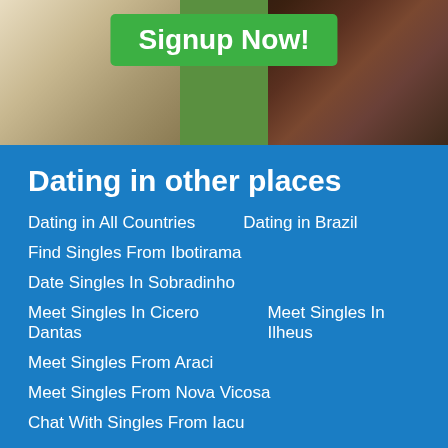[Figure (photo): Two people partially visible - person with light/blonde hair on left, person with darker skin and curly hair on right, against a blurred outdoor background]
Signup Now!
Dating in other places
Dating in All Countries
Dating in Brazil
Find Singles From Ibotirama
Date Singles In Sobradinho
Meet Singles In Cicero Dantas
Meet Singles In Ilheus
Meet Singles From Araci
Meet Singles From Nova Vicosa
Chat With Singles From Iacu